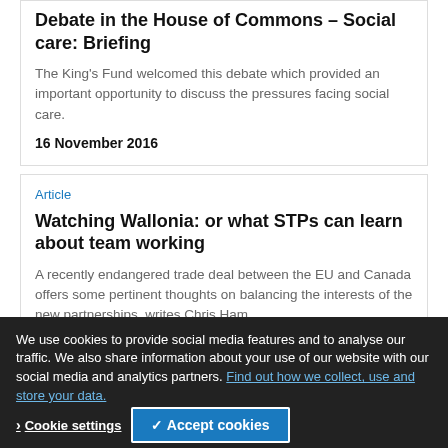Debate in the House of Commons – Social care: Briefing
The King's Fund welcomed this debate which provided an important opportunity to discuss the pressures facing social care.
16 November 2016
Article
Watching Wallonia: or what STPs can learn about team working
A recently endangered trade deal between the EU and Canada offers some pertinent thoughts on balancing the interests of the new partnerships, writes Chris Ham
By Professor Sir Chris Ham - 14 November 2016
We use cookies to provide social media features and to analyse our traffic. We also share information about your use of our website with our social media and analytics partners. Find out how we collect, use and store your data.
Cookie settings
✓ Accept cookies